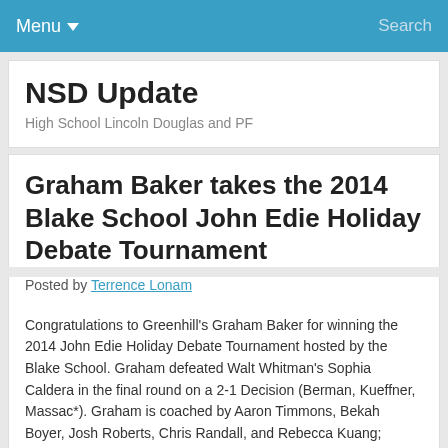Menu  Search
NSD Update
High School Lincoln Douglas and PF
Graham Baker takes the 2014 Blake School John Edie Holiday Debate Tournament
Posted by Terrence Lonam
Congratulations to Greenhill's Graham Baker for winning the 2014 John Edie Holiday Debate Tournament hosted by the Blake School. Graham defeated Walt Whitman's Sophia Caldera in the final round on a 2-1 Decision (Berman, Kueffner, Massac*). Graham is coached by Aaron Timmons, Bekah Boyer, Josh Roberts, Chris Randall, and Rebecca Kuang; Sophia is coached by Emily Massey, Michael Harris and JP Stuckert. Blake is a Quarterfinals Qualifer to the Tournament of Champions.
Full Results: